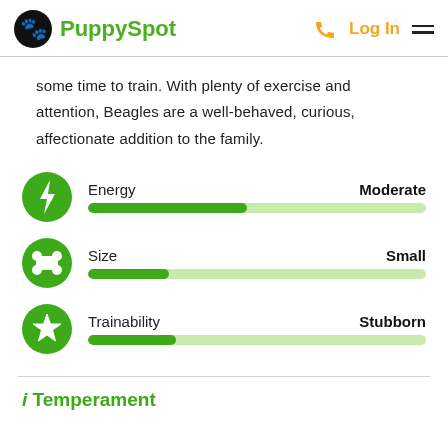PuppySpot  Log In
some time to train. With plenty of exercise and attention, Beagles are a well-behaved, curious, affectionate addition to the family.
[Figure (infographic): Energy trait indicator with green circle lightning bolt icon, label 'Energy', value 'Moderate', and a progress bar about half filled in dark green on light green background.]
[Figure (infographic): Size trait indicator with green circle bone icon, label 'Size', value 'Small', and a short progress bar about one quarter filled in dark green on light green background.]
[Figure (infographic): Trainability trait indicator with green circle star icon, label 'Trainability', value 'Stubborn', and a progress bar about one quarter filled in dark green on light green background.]
i Temperament